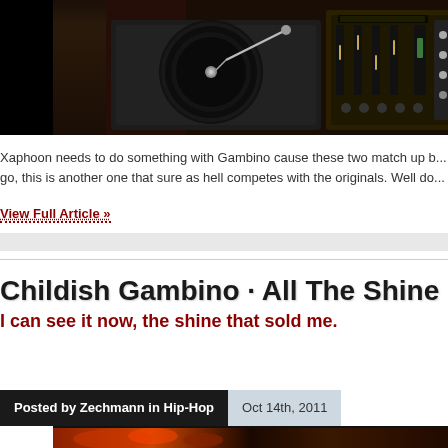[Figure (photo): DJ turntable and mixer equipment on dark background]
Xaphoon needs to do something with Gambino cause these two match up b... go, this is another one that sure as hell competes with the originals. Well do...
View Full Article »
Childish Gambino · All The Shine
I can see it now, the shine that sold me.
Posted by Zechmann in Hip-Hop
Oct 14th, 2011
[Figure (photo): Partial view of a second article's header image with orange/red tones]